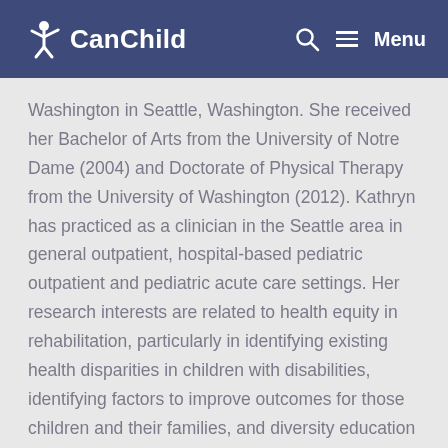CanChild | Menu
Washington in Seattle, Washington. She received her Bachelor of Arts from the University of Notre Dame (2004) and Doctorate of Physical Therapy from the University of Washington (2012). Kathryn has practiced as a clinician in the Seattle area in general outpatient, hospital-based pediatric outpatient and pediatric acute care settings. Her research interests are related to health equity in rehabilitation, particularly in identifying existing health disparities in children with disabilities, identifying factors to improve outcomes for those children and their families, and diversity education in professional contexts.